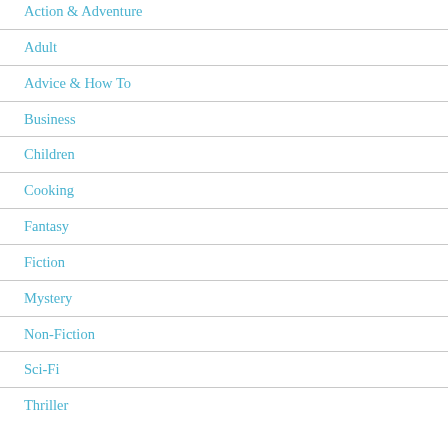Action & Adventure
Adult
Advice & How To
Business
Children
Cooking
Fantasy
Fiction
Mystery
Non-Fiction
Sci-Fi
Thriller